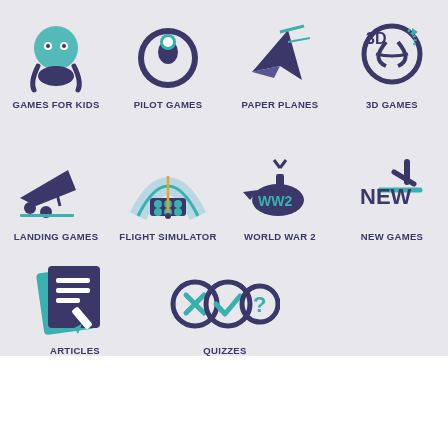[Figure (infographic): Grid of navigation category icons on light grey background: Games for Kids, Pilot Games, Paper Planes, 3D Games (row 1); Landing Games, Flight Simulator, World War 2, New Games (row 2); Articles, Quizzes (row 3)]
Top 10 Celebrities Private Jets
You're here: Home > Articles > Top 10